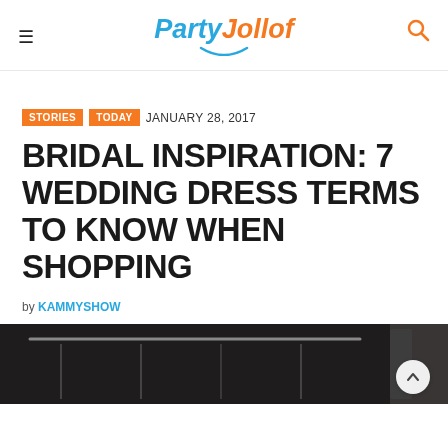PartyJollof
STORIES  TODAY  JANUARY 28, 2017
BRIDAL INSPIRATION: 7 WEDDING DRESS TERMS TO KNOW WHEN SHOPPING
by KAMMYSHOW
[Figure (photo): Dark interior photo showing clothing racks in what appears to be a bridal shop or clothing store]